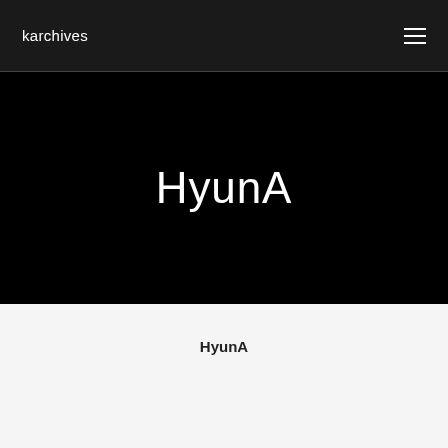karchives
HyunA
HyunA
[Figure (photo): Photo of HyunA with dark green hair, teal glitter background on left, warm golden background on right, with white hair accessories visible]